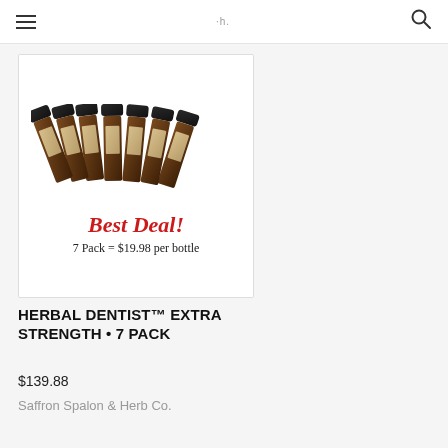≡  ·h.  🔍
[Figure (photo): Seven small amber glass bottles with black caps arranged in a fan/group pattern. Each bottle has a label reading 'Herbal Dentist'. Below the bottles is red cursive script reading 'Best Deal!' and below that black text reading '7 Pack = $19.98 per bottle']
HERBAL DENTIST™ EXTRA STRENGTH • 7 PACK
$139.88
Saffron Spalon & Herb Co.